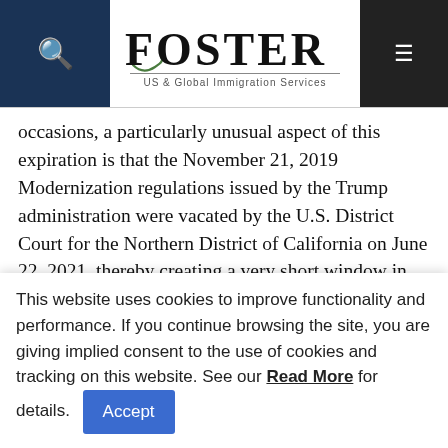Foster — US & Global Immigration Services
occasions, a particularly unusual aspect of this expiration is that the November 21, 2019 Modernization regulations issued by the Trump administration were vacated by the U.S. District Court for the Northern District of California on June 22, 2021, thereby creating a very short window in which foreign investors could qualify by timely selecting investments and filing EB-5 petitions at the $500,000 investment level, all of which were
This website uses cookies to improve functionality and performance. If you continue browsing the site, you are giving implied consent to the use of cookies and tracking on this website. See our Read More for details.